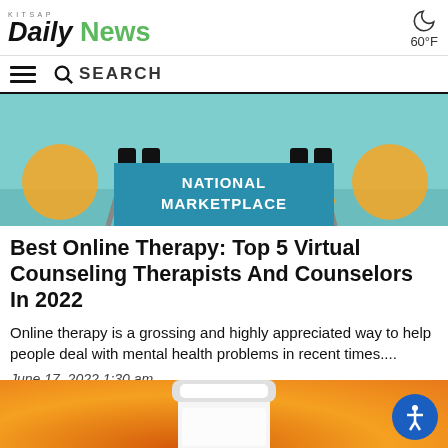KITSAP Daily News 60°F
[Figure (screenshot): Search bar with hamburger menu icon and magnifying glass search icon with text SEARCH]
[Figure (illustration): Illustration showing legs of people sitting on chairs, with a blue teal banner overlay reading NATIONAL MARKETPLACE]
Best Online Therapy: Top 5 Virtual Counseling Therapists And Counselors In 2022
Online therapy is a grossing and highly appreciated way to help people deal with mental health problems in recent times....
June 17, 2022 1:30 am
[Figure (photo): Photo of a pill bottle on orange/amber background with accessibility button in bottom right corner]